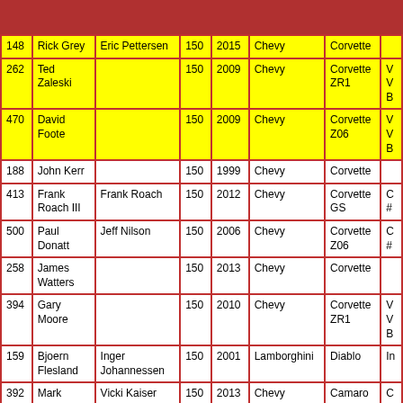| # | Driver | Co-Driver | 150 | Year | Make | Model | ... |
| --- | --- | --- | --- | --- | --- | --- | --- |
| 148 | Rick Grey | Eric Pettersen | 150 | 2015 | Chevy | Corvette |  |
| 262 | Ted Zaleski |  | 150 | 2009 | Chevy | Corvette ZR1 | V V B |
| 470 | David Foote |  | 150 | 2009 | Chevy | Corvette Z06 | V V B |
| 188 | John Kerr |  | 150 | 1999 | Chevy | Corvette |  |
| 413 | Frank Roach III | Frank Roach | 150 | 2012 | Chevy | Corvette GS | C # |
| 500 | Paul Donatt | Jeff Nilson | 150 | 2006 | Chevy | Corvette Z06 | C # |
| 258 | James Watters |  | 150 | 2013 | Chevy | Corvette |  |
| 394 | Gary Moore |  | 150 | 2010 | Chevy | Corvette ZR1 | V V B |
| 159 | Bjoern Flesland | Inger Johannessen | 150 | 2001 | Lamborghini | Diablo | In |
| 392 | Mark Hargis | Vicki Kaiser | 150 | 2013 | Chevy | Camaro | C |
| 261 | Blue Offutt |  | 150 | 1993 | Mazda | RX 7 | In |
| 758 | Chris Painter | Joe Vumbaco | 150 | 2017 | Chevy | Corvette | V |